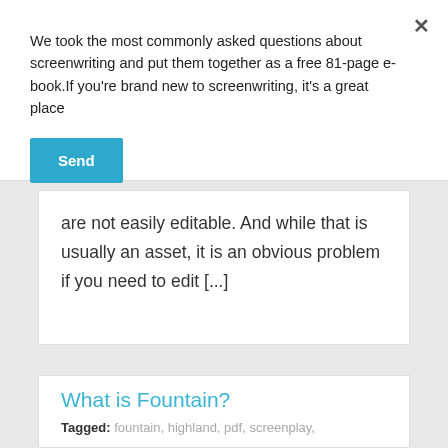We took the most commonly asked questions about screenwriting and put them together as a free 81-page e-book.If you're brand new to screenwriting, it's a great place
Send
are not easily editable. And while that is usually an asset, it is an obvious problem if you need to edit [...]
What is Fountain?
Tagged: fountain, highland, pdf, screenplay,